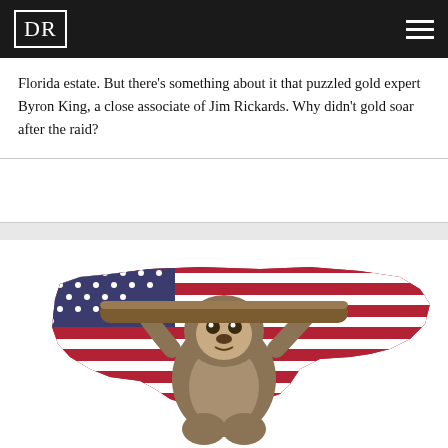DR
Florida estate. But there’s something about it that puzzled gold expert Byron King, a close associate of Jim Rickards. Why didn’t gold soar after the raid?
[Figure (illustration): A sloth clinging to a wooden branch, superimposed on a map of the United States filled with the American flag (blue canton with white stars, red and white stripes). The image is colorful with red, white, and blue flag colors.]